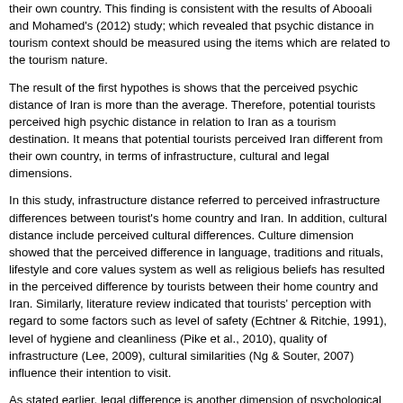their own country. This finding is consistent with the results of Abooali and Mohamed's (2012) study; which revealed that psychic distance in tourism context should be measured using the items which are related to the tourism nature.
The result of the first hypothes is shows that the perceived psychic distance of Iran is more than the average. Therefore, potential tourists perceived high psychic distance in relation to Iran as a tourism destination. It means that potential tourists perceived Iran different from their own country, in terms of infrastructure, cultural and legal dimensions.
In this study, infrastructure distance referred to perceived infrastructure differences between tourist's home country and Iran. In addition, cultural distance include perceived cultural differences. Culture dimension showed that the perceived difference in language, traditions and rituals, lifestyle and core values system as well as religious beliefs has resulted in the perceived difference by tourists between their home country and Iran. Similarly, literature review indicated that tourists' perception with regard to some factors such as level of safety (Echtner & Ritchie, 1991), level of hygiene and cleanliness (Pike et al., 2010), quality of infrastructure (Lee, 2009), cultural similarities (Ng & Souter, 2007) influence their intention to visit.
As stated earlier, legal difference is another dimension of psychological distance. Perceived psychic distance in legal terms is the result of difference in tourism rules, different approaches in foreign policy as tourism facilitator, difference in the legal system and perceived difference regarding citizens' behavioral freedom. Similarly, Abooali and Mohamed's (2012) study showed that legal regulation influenced on tourists' destination evaluation. In addition, Henderson (2008) noted that